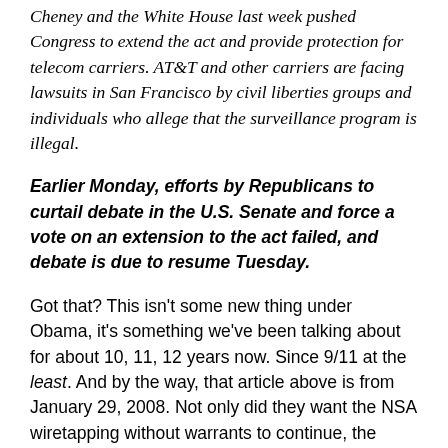Cheney and the White House last week pushed Congress to extend the act and provide protection for telecom carriers. AT&T and other carriers are facing lawsuits in San Francisco by civil liberties groups and individuals who allege that the surveillance program is illegal.
Earlier Monday, efforts by Republicans to curtail debate in the U.S. Senate and force a vote on an extension to the act failed, and debate is due to resume Tuesday.
Got that? This isn't some new thing under Obama, it's something we've been talking about for about 10, 11, 12 years now. Since 9/11 at the least. And by the way, that article above is from January 29, 2008. Not only did they want the NSA wiretapping without warrants to continue, the Republicans in the Senate tried to ram it through and